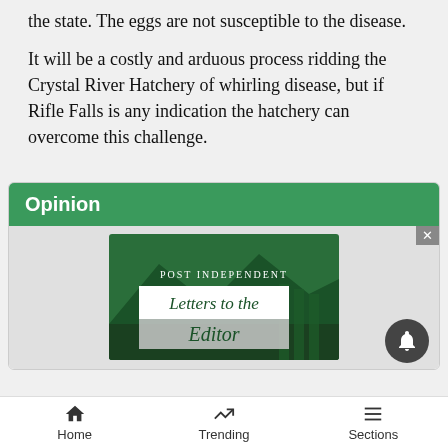the state. The eggs are not susceptible to the disease.
It will be a costly and arduous process ridding the Crystal River Hatchery of whirling disease, but if Rifle Falls is any indication the hatchery can overcome this challenge.
Opinion
[Figure (illustration): Post Independent Letters to the Editor graphic with green mountain background]
Home   Trending   Sections